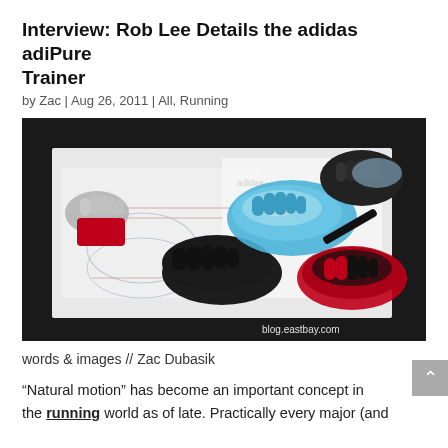Interview: Rob Lee Details the adidas adiPure Trainer
by Zac | Aug 26, 2011 | All, Running
[Figure (photo): Overhead flat-lay photo of adidas adiPure Trainer shoes in multiple colorways (blue/silver, black, red/black) alongside toe socks and design sketches/blueprints on a white surface. Watermark reads blog.eastbay.com]
words & images // Zac Dubasik
“Natural motion” has become an important concept in the running world as of late. Practically every major (and